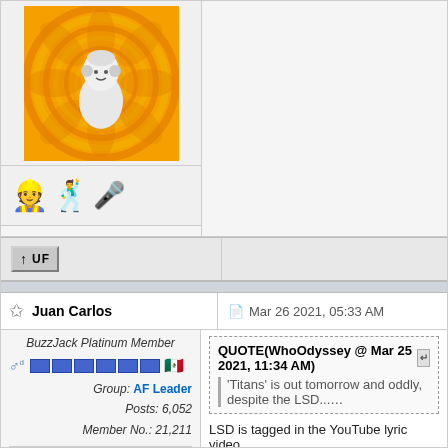[Figure (photo): User avatar with orange spiral background and white character with headphones]
[Figure (illustration): Emoji row: construction worker, dancer, microphone]
[Figure (screenshot): Toolbar with up arrow and UF button]
Juan Carlos
Mar 26 2021, 05:33 AM
BuzzJack Platinum Member
Group: AF Leader
Posts: 6,052
Member No.: 21,211
Joined: 14-September 14
No Gallery Pics
QUOTE(WhoOdyssey @ Mar 25 2021, 11:34 AM)
'Titans' is out tomorrow and oddly, despite the LSD... Labrinth! (with no mention of LSD tagged on Spoti...
LSD is tagged in the YouTube lyric video.
[Figure (screenshot): YouTube video thumbnail for Major Lazer - Titans (feat. ...)]